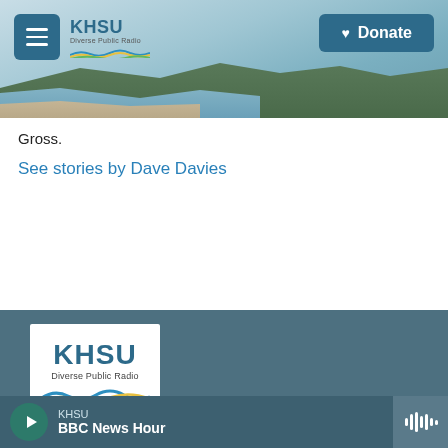[Figure (screenshot): KHSU Diverse Public Radio website header with coastal beach/landscape photo, hamburger menu button, KHSU logo, and blue Donate button]
Gross.
See stories by Dave Davies
[Figure (logo): KHSU Diverse Public Radio logo — white square with KHSU in large blue text, 'Diverse Public Radio' below, and a colorful wave graphic]
KHSU
BBC News Hour